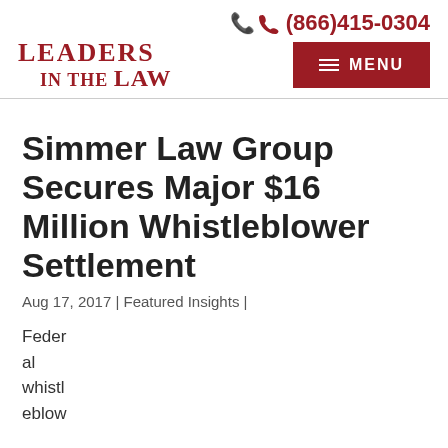(866)415-0304
[Figure (logo): Leaders in the Law logo in dark red serif font]
Simmer Law Group Secures Major $16 Million Whistleblower Settlement
Aug 17, 2017 | Featured Insights |
Federal whistleblow